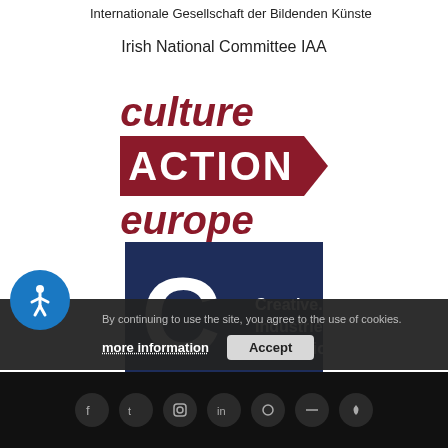Internationale Gesellschaft der Bildenden Künste
Irish National Committee IAA
[Figure (logo): Culture Action Europe logo in dark red/maroon italic text with ACTION in a filled banner with arrow]
[Figure (logo): Creative Industries Federation logo on dark navy background with large C. and white text]
By continuing to use the site, you agree to the use of cookies.
more information
Accept